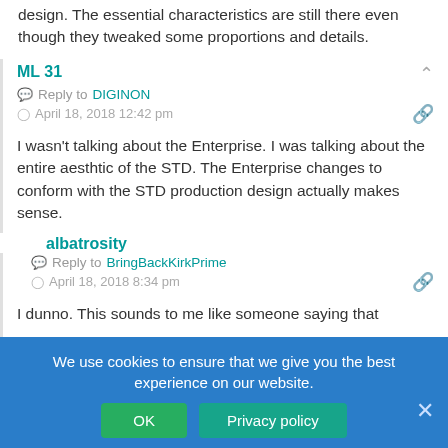design. The essential characteristics are still there even though they tweaked some proportions and details.
ML31
Reply to DIGINON
April 18, 2018 12:42 pm
I wasn't talking about the Enterprise. I was talking about the entire aesthtic of the STD. The Enterprise changes to conform with the STD production design actually makes sense.
albatrosity
Reply to BringBackKirkPrime
April 18, 2018 8:34 pm
I dunno. This sounds to me like someone saying that
The Dark Knight was a terrible batman movie because it contradicts the iteration of the 1960s Adam West in pajamas TV show. Yes, the Dark Knight trilogy was a standalone film, a film that supposedly
We use cookies to ensure that we give you the best experience on our website.
OK
Privacy policy